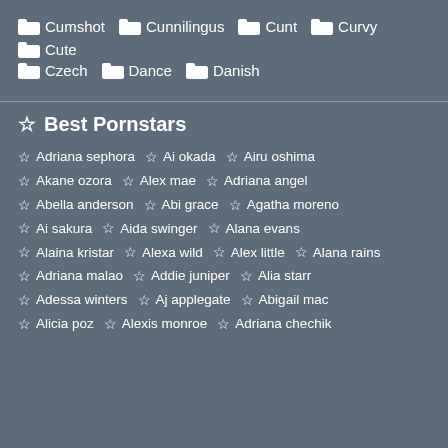Cumshot Cunnilingus Cunt Curvy Cute Czech Dance Danish
Best Pornstars
Adriana sephora
Ai okada
Airu oshima
Akane ozora
Alex mae
Adriana angel
Abella anderson
Abi grace
Agatha moreno
Ai sakura
Aida swinger
Alana evans
Alaina kristar
Alexa wild
Alex little
Alana rains
Adriana malao
Addie juniper
Alia starr
Adessa winters
Aj applegate
Abigail mac
Alicia poz
Alexis monroe
Adriana chechik